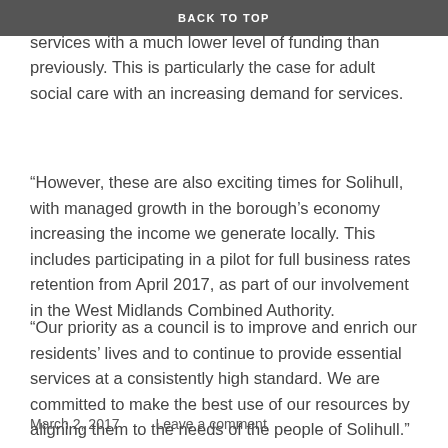BACK TO TOP
challenge over the next few years to deliver public services with a much lower level of funding than previously. This is particularly the case for adult social care with an increasing demand for services.
“However, these are also exciting times for Solihull, with managed growth in the borough’s economy increasing the income we generate locally. This includes participating in a pilot for full business rates retention from April 2017, as part of our involvement in the West Midlands Combined Authority.
“Our priority as a council is to improve and enrich our residents’ lives and to continue to provide essential services at a consistently high standard. We are committed to make the best use of our resources by aligning them to the needs of the people of Solihull.”
March 2, 2017    Leave a comment